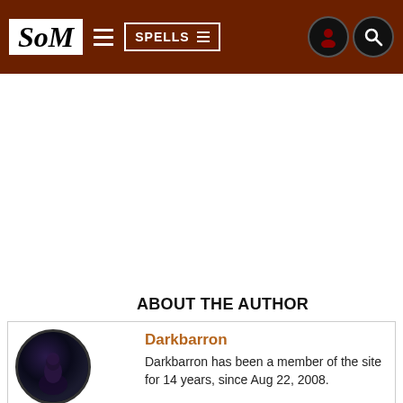SoM | SPELLS
ABOUT THE AUTHOR
[Figure (photo): Circular avatar photo of Darkbarron, dark toned image showing a person's face]
Darkbarron
Darkbarron has been a member of the site for 14 years, since Aug 22, 2008.